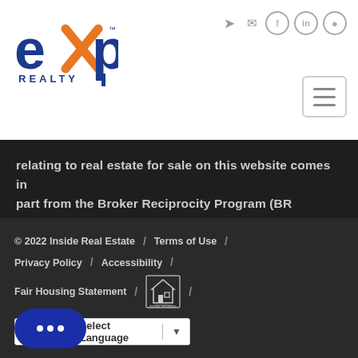[Figure (logo): eXp Realty logo - blue and orange text logo]
relating to real estate for sale on this website comes in part from the Broker Reciprocity Program (BR Program) of M.L.S. of Naples,   Show More...
© 2022 Inside Real Estate / Terms of Use / Privacy Policy / Accessibility / Fair Housing Statement /
[Figure (other): Google Translate language selector widget]
[Figure (other): Chat button with three dots]